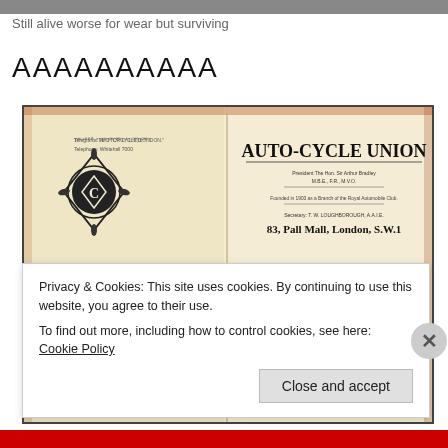Still alive worse for wear but surviving
AAAAAAAAAA
[Figure (photo): Scanned letterhead from Auto-Cycle Union dated 18th May, 1939. Left side has telegraphic address, telephone number, and ACU logo/crest. Right side reads: AUTO-CYCLE UNION, President The Hon. Sir Arthur Bradley, Founded 1903 as a Branch of the Royal Automobile Club, Secretary T. W. Loughborough, 83 Pall Mall London S.W.1. Reference STU/MFO. Date 18th May, 1939. Addressed to T. C. Whitton, Esq., 115 Queen Street, NEWTON ABBOT.]
Privacy & Cookies: This site uses cookies. By continuing to use this website, you agree to their use.
To find out more, including how to control cookies, see here: Cookie Policy
Close and accept